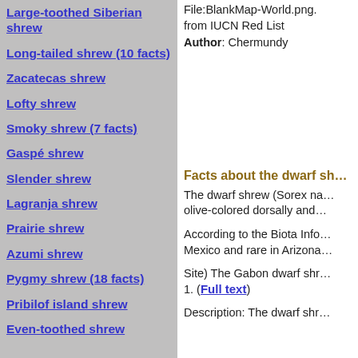Large-toothed Siberian shrew
Long-tailed shrew (10 facts)
Zacatecas shrew
Lofty shrew
Smoky shrew (7 facts)
Gaspé shrew
Slender shrew
Lagranja shrew
Prairie shrew
Azumi shrew
Pygmy shrew (18 facts)
Pribilof island shrew
Even-toothed shrew
Original source: Base map File:BlankMap-World.png. from IUCN Red List
Author: Chermundy
Facts about the dwarf sh…
The dwarf shrew (Sorex na… olive-colored dorsally and…
According to the Biota Info… Mexico and rare in Arizona…
Site) The Gabon dwarf shr… 1. (Full text)
Description: The dwarf shr…